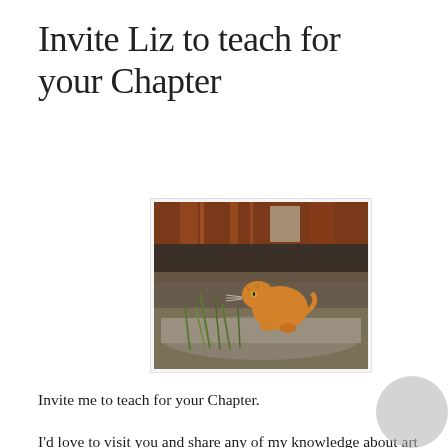Invite Liz to teach for your Chapter
[Figure (photo): Painting of an orange tabby cat crouching under a rusty metal structure, peeking out amid green grass, in a realistic style.]
Invite me to teach for your Chapter.
I'd love to visit you and share any of my knowledge about art and design.  I am a DecoArt Helping Artist and DecoArt graciously provides paint and products for